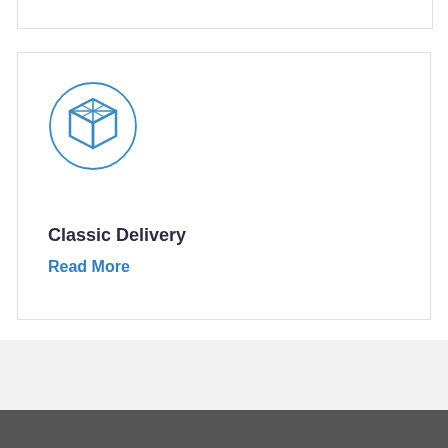[Figure (illustration): 3D box / package icon in blue, inside a blue circle outline, representing Classic Delivery service]
Classic Delivery
Read More
FÜR PRIVATKUNDEN
Indem Sie diese Seite nutzen, akzeptieren Sie die Verwendu... es. Versand nac... Mehr über unsere Cookie-Richtlinie lesen Sie h...
Akzeptieren